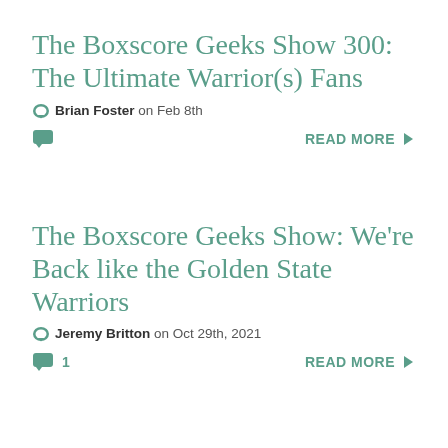The Boxscore Geeks Show 300: The Ultimate Warrior(s) Fans
Brian Foster on Feb 8th
READ MORE
The Boxscore Geeks Show: We're Back like the Golden State Warriors
Jeremy Britton on Oct 29th, 2021
1  READ MORE